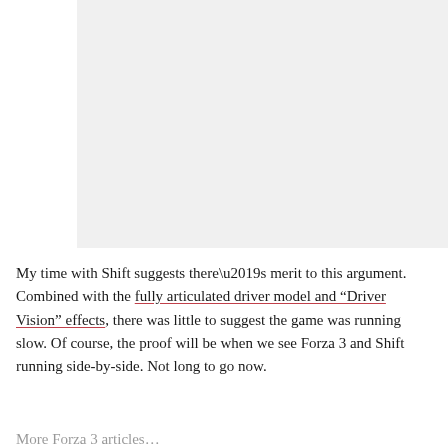[Figure (photo): A large light gray placeholder image area occupying the upper right portion of the page.]
My time with Shift suggests there’s merit to this argument. Combined with the fully articulated driver model and “Driver Vision” effects, there was little to suggest the game was running slow. Of course, the proof will be when we see Forza 3 and Shift running side-by-side. Not long to go now.
More Forza 3 articles...